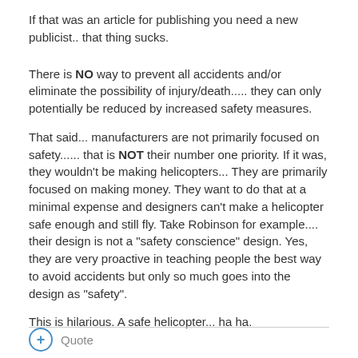If that was an article for publishing you need a new publicist.. that thing sucks.
There is NO way to prevent all accidents and/or eliminate the possibility of injury/death..... they can only potentially be reduced by increased safety measures.
That said... manufacturers are not primarily focused on safety...... that is NOT their number one priority. If it was, they wouldn't be making helicopters... They are primarily focused on making money. They want to do that at a minimal expense and designers can't make a helicopter safe enough and still fly. Take Robinson for example.... their design is not a "safety conscience" design. Yes, they are very proactive in teaching people the best way to avoid accidents but only so much goes into the design as "safety".
This is hilarious. A safe helicopter... ha ha.